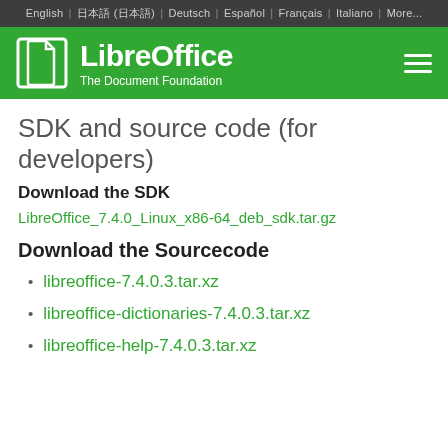English | 日本語 (日本語) | Deutsch | Español | Français | Italiano | More...
[Figure (logo): LibreOffice logo with green header bar showing LibreOffice name, The Document Foundation subtitle, and hamburger menu icon]
SDK and source code (for developers)
Download the SDK
LibreOffice_7.4.0_Linux_x86-64_deb_sdk.tar.gz
Download the Sourcecode
libreoffice-7.4.0.3.tar.xz
libreoffice-dictionaries-7.4.0.3.tar.xz
libreoffice-help-7.4.0.3.tar.xz